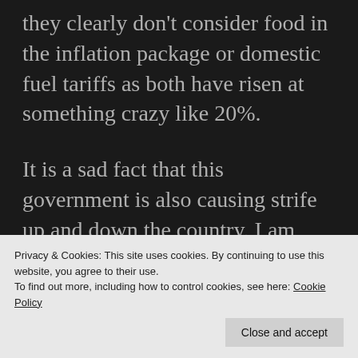they clearly don't consider food in the inflation package or domestic fuel tariffs as both have risen at something crazy like 20%.
It is a sad fact that this government is also causing strife up and down the country. I am uncertain whether Zoey's contract for her PA will be renewed this year. If not, it means she goes unsupported and someone who may not get another job is on the unemployment register. Even if they do, I have to sit down with them and discuss progress this year which may mean some changes being made. Not looking forward to decisions I may
Privacy & Cookies: This site uses cookies. By continuing to use this website, you agree to their use.
To find out more, including how to control cookies, see here: Cookie Policy
Close and accept